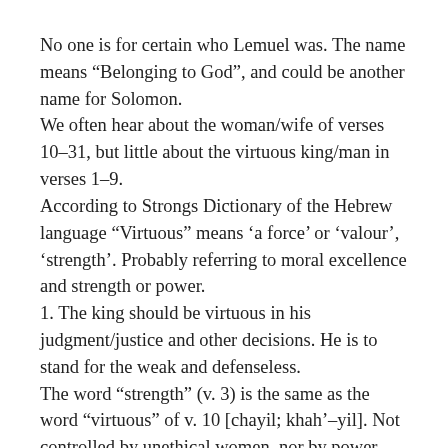No one is for certain who Lemuel was. The name means “Belonging to God”, and could be another name for Solomon. We often hear about the woman/wife of verses 10–31, but little about the virtuous king/man in verses 1–9. According to Strongs Dictionary of the Hebrew language “Virtuous” means ‘a force’ or ‘valour’, ‘strength’. Probably referring to moral excellence and strength or power. 1. The king should be virtuous in his judgment/justice and other decisions. He is to stand for the weak and defenseless. The word “strength” (v. 3) is the same as the word “virtuous” of v. 10 [chayil; khah’–yil]. Not controlled by unethical women, nor by power,